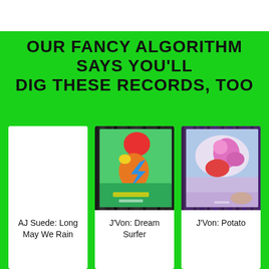OUR FANCY ALGORITHM SAYS YOU'LL DIG THESE RECORDS, TOO
[Figure (other): White blank album cover placeholder for AJ Suede: Long May We Rain]
AJ Suede: Long May We Rain
[Figure (photo): Photo of J'Von: Dream Surfer vinyl record album cover with colorful cartoon artwork]
J'Von: Dream Surfer
[Figure (photo): Photo of J'Von: Potato vinyl record album cover with pink/purple cartoon artwork]
J'Von: Potato